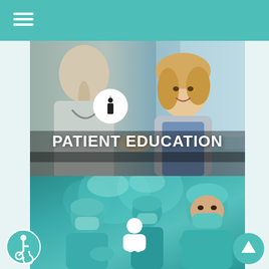Navigation menu header bar with hamburger icon
[Figure (photo): Healthcare professional consulting with a smiling female patient; doctor seen from behind, patient in gray cardigan smiling]
PATIENT EDUCATION
[Figure (photo): Surgical team in teal scrubs and masks in an operating room; senior surgeon in foreground with arms crossed looking at camera]
[Figure (infographic): White doctor/stethoscope icon at bottom center]
[Figure (infographic): Accessibility icon (wheelchair symbol) in teal circle at bottom left]
[Figure (infographic): Up arrow button in teal circle at bottom right]